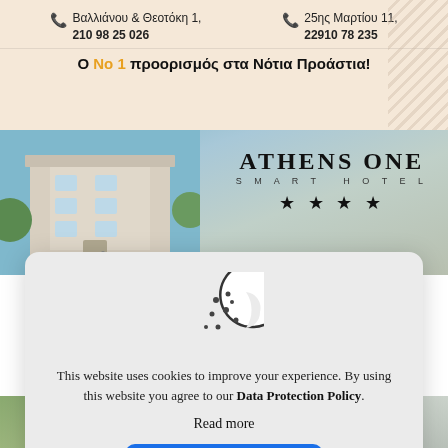[Figure (infographic): Top advertisement banner with two phone numbers for store locations: Βαλλιάνου & Θεοτόκη 1, 210 98 25 026 and 25ης Μαρτίου 11, 22910 78 235, with diagonal pattern overlay and tagline 'Ο Νο 1 προορισμός στα Νότια Προάστια!']
[Figure (photo): Athens One Smart Hotel banner with hotel building photo (blue sky background, white/beige building with trees) on the left and hotel name text with four stars on the right]
[Figure (infographic): Cookie consent dialog with cookie icon, text about cookie policy, Read more link, and Accept all blue button]
[Figure (photo): Bottom strip showing two partial photos side by side — appears to be outdoor/hotel scenes]